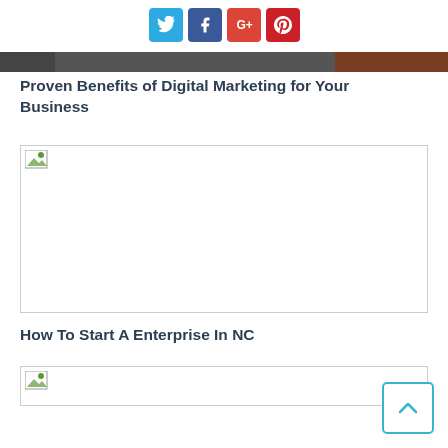[Figure (infographic): Social media sharing icons: Twitter (blue), Facebook (dark blue), Google+ (red), Pinterest (dark red)]
[Figure (photo): Top partial image strip showing dark and brown tones, partially visible article image]
Proven Benefits of Digital Marketing for Your Business
[Figure (photo): Broken/loading image placeholder for article about digital marketing]
How To Start A Enterprise In NC
[Figure (photo): Broken/loading image placeholder for article about starting enterprise in NC]